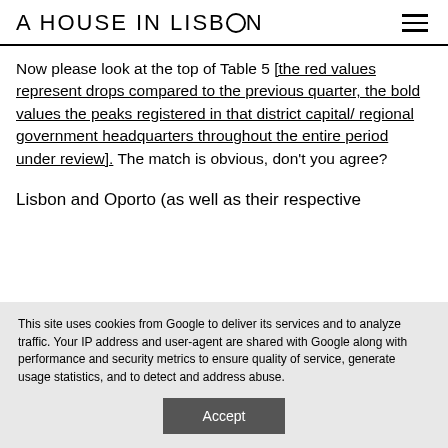A HOUSE IN LISBON
Now please look at the top of Table 5 [the red values represent drops compared to the previous quarter, the bold values the peaks registered in that district capital/ regional government headquarters throughout the entire period under review]. The match is obvious, don't you agree?
Lisbon and Oporto (as well as their respective
This site uses cookies from Google to deliver its services and to analyze traffic. Your IP address and user-agent are shared with Google along with performance and security metrics to ensure quality of service, generate usage statistics, and to detect and address abuse.